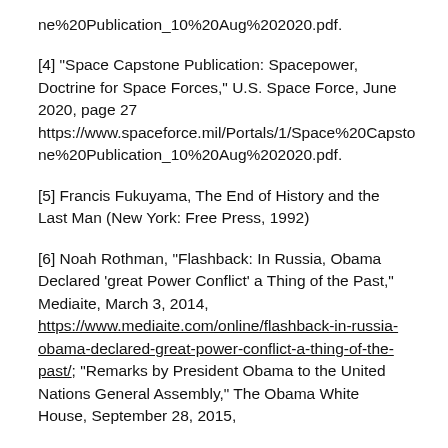ne%20Publication_10%20Aug%202020.pdf.
[4] “Space Capstone Publication: Spacepower, Doctrine for Space Forces,” U.S. Space Force, June 2020, page 27 https://www.spaceforce.mil/Portals/1/Space%20Capstone%20Publication_10%20Aug%202020.pdf.
[5] Francis Fukuyama, The End of History and the Last Man (New York: Free Press, 1992)
[6] Noah Rothman, “Flashback: In Russia, Obama Declared ‘great Power Conflict’ a Thing of the Past,” Mediaite, March 3, 2014, https://www.mediaite.com/online/flashback-in-russia-obama-declared-great-power-conflict-a-thing-of-the-past/; “Remarks by President Obama to the United Nations General Assembly,” The Obama White House, September 28, 2015,